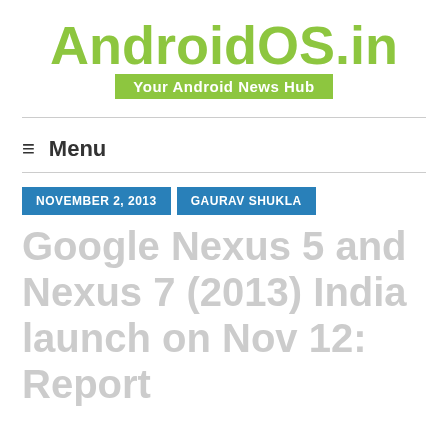[Figure (logo): AndroidOS.in logo with green bold text and green tagline bar reading 'Your Android News Hub']
≡  Menu
NOVEMBER 2, 2013   GAURAV SHUKLA
Google Nexus 5 and Nexus 7 (2013) India launch on Nov 12: Report